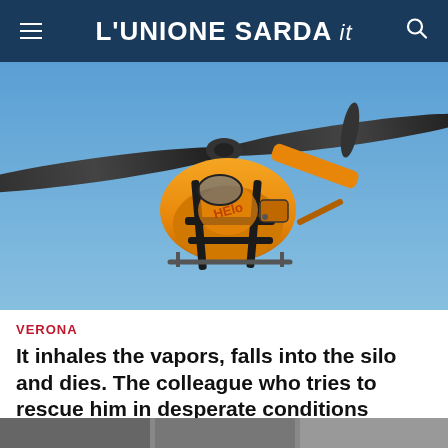L'UNIONE SARDA .it
[Figure (photo): Orange rescue/emergency helicopter photographed from below against a clear blue sky, showing the underside of the aircraft with its rotor blades extended.]
VERONA
It inhales the vapors, falls into the silo and dies. The colleague who tries to rescue him in desperate conditions
Terrible accident at work at Cantina Pasqua: one dead and one seriously injured